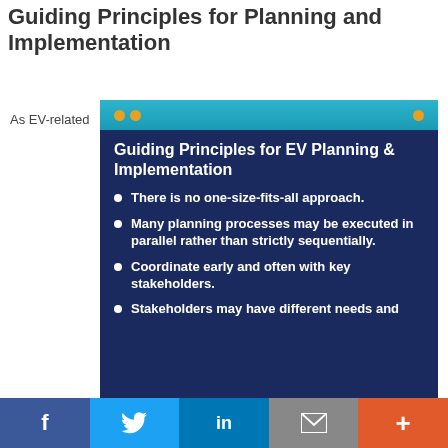Guiding Principles for Planning and Implementation
As EV-related
[Figure (infographic): Dark blue infographic panel with teal header strip containing orange dots, titled 'Guiding Principles for EV Planning & Implementation' with four bullet points: 'There is no one-size-fits-all approach.', 'Many planning processes may be executed in parallel rather than strictly sequentially.', 'Coordinate early and often with key stakeholders.', 'Stakeholders may have different needs and']
f  (Twitter bird)  in  (envelope)  +